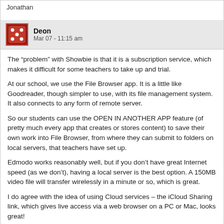Jonathan
Deon
Mar 07 - 11:15 am
The “problem” with Showbie is that it is a subscription service, which makes it difficult for some teachers to take up and trial.
At our school, we use the File Browser app. It is a little like Goodreader, though simpler to use, with its file management system. It also connects to any form of remote server.
So our students can use the OPEN IN ANOTHER APP feature (of pretty much every app that creates or stores content) to save their own work into File Browser, from where they can submit to folders on local servers, that teachers have set up.
Edmodo works reasonably well, but if you don’t have great Internet speed (as we don’t), having a local server is the best option. A 150MB video file will transfer wirelessly in a minute or so, which is great.
I do agree with the idea of using Cloud services – the iCloud Sharing link, which gives live access via a web browser on a PC or Mac, looks great!